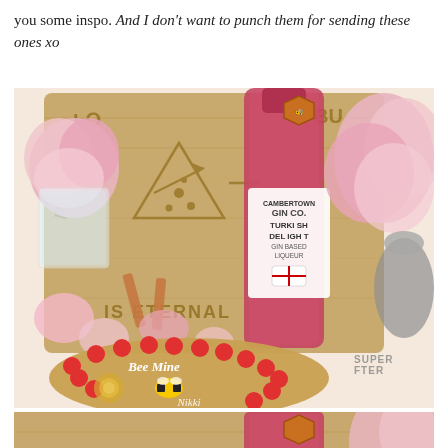you some inspo. And I don't want to punch them for sending these ones xo
[Figure (photo): Flat lay photo showing a wooden engraved board with pizza and 'IS ETERNAL' text, a pink gin bottle labeled 'GIN CO. TURKISH DELIGHT GIN BASED LIQUEUR', pink roses in vases, lipstick tubes, jewellery, and a round cookie decorated with red M&Ms and a bee saying 'Bee Mine']
[Figure (photo): Partial second photo showing closeup of wooden board with letters 'S BU' and pink gin bottle top]